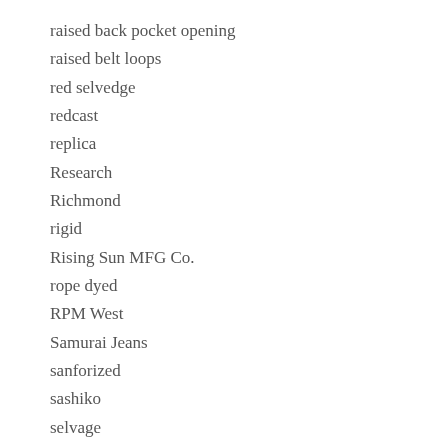raised back pocket opening
raised belt loops
red selvedge
redcast
replica
Research
Richmond
rigid
Rising Sun MFG Co.
rope dyed
RPM West
Samurai Jeans
sanforized
sashiko
selvage